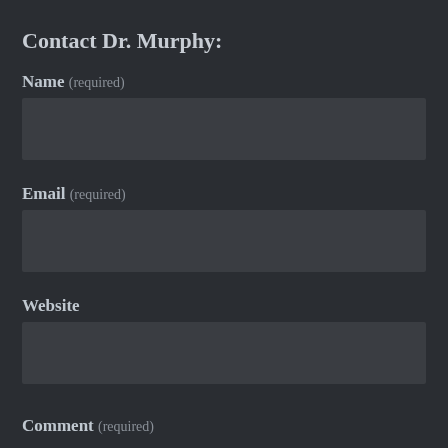Contact Dr. Murphy:
Name (required)
[Figure (other): Empty input field for Name]
Email (required)
[Figure (other): Empty input field for Email]
Website
[Figure (other): Empty input field for Website]
Comment (required)